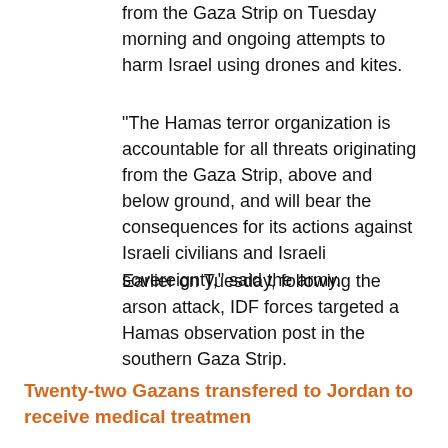from the Gaza Strip on Tuesday morning and ongoing attempts to harm Israel using drones and kites.
"The Hamas terror organization is accountable for all threats originating from the Gaza Strip, above and below ground, and will bear the consequences for its actions against Israeli civilians and Israeli sovereignty," said the army.
Earlier on Tuesday, following the arson attack, IDF forces targeted a Hamas observation post in the southern Gaza Strip.
Twenty-two Gazans transfered to Jordan to receive medical treatmen
On Tuesday, 22 Palestinians and their relatives were transferred from the Gaza Strip for medical treatment in Jordan, according to the IDF spokesperson.